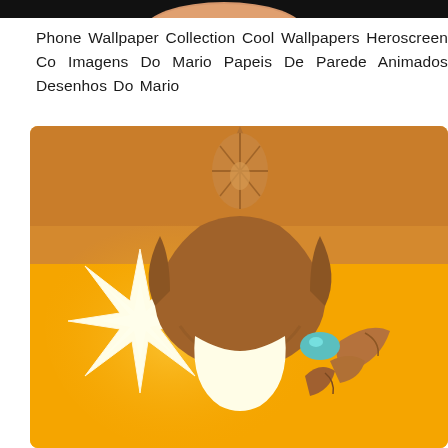[Figure (photo): Top portion of a face/character image with dark background, cropped at bottom]
Phone Wallpaper Collection Cool Wallpapers Heroscreen Co Imagens Do Mario Papeis De Parede Animados Desenhos Do Mario
[Figure (illustration): Cartoon illustration on yellow-orange background featuring a white spiky star shape on the left and a brown crown-like character (Bowser) with shell spikes and teal accents on the right, against a golden yellow background with a darker orange gradient band at the top]